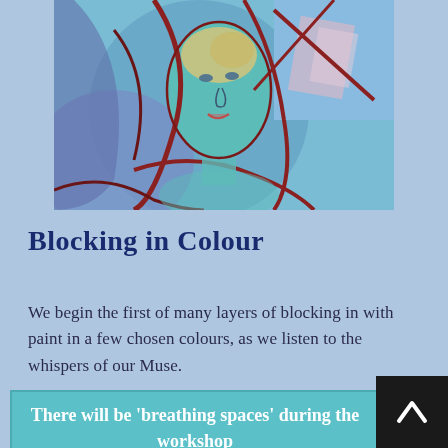[Figure (illustration): Colourful expressionist painting of a face with blue tones, red outlines, and abstract shapes in the background]
Blocking in Colour
We begin the first of many layers of blocking in with paint in a few chosen colours, as we listen to the whispers of our Muse.
There will be 'breathing spaces' during the workshop